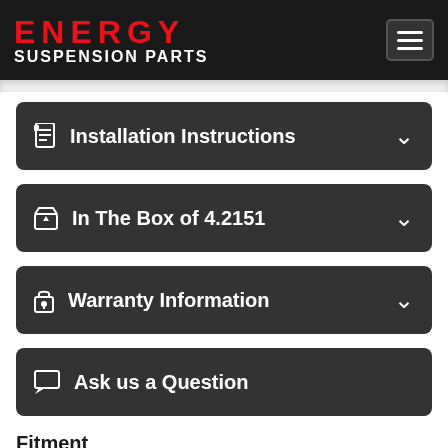ENERGY SUSPENSION PARTS
Installation Instructions
In The Box of 4.2151
Warranty Information
Ask us a Question
Fitment